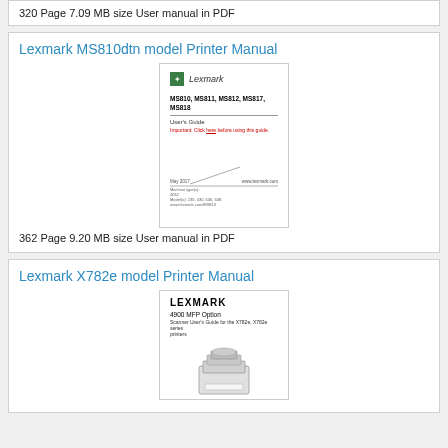320 Page 7.09 MB size User manual in PDF
Lexmark MS810dtn model Printer Manual
[Figure (photo): Thumbnail image of Lexmark MS810 MS811 MS812 MS817 MS818 User's Guide PDF cover page]
362 Page 9.20 MB size User manual in PDF
Lexmark X782e model Printer Manual
[Figure (photo): Thumbnail image of Lexmark 4900 MFP Option Scanner User's Guide cover showing a printer/scanner device]